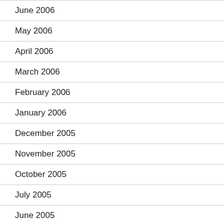June 2006
May 2006
April 2006
March 2006
February 2006
January 2006
December 2005
November 2005
October 2005
July 2005
June 2005